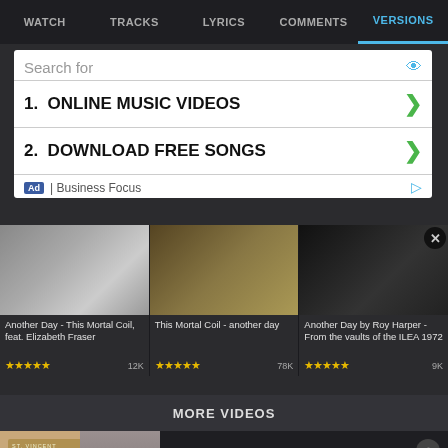WATCH  TRACKS  LYRICS  COMMENTS  VERSIONS
[Figure (screenshot): Advertisement banner with 'Search for' header, two items: 1. ONLINE MUSIC VIDEOS, 2. DOWNLOAD FREE SONGS, footer shows Ad | Business Focus]
[Figure (screenshot): Three video thumbnails in a grid: 'Another Day - This Mortal Coil, feat. Elizabeth Fraser' with 5 stars and 12K views; 'This Mortal Coil - another day' with 5 stars and 78K views; 'Another Day by Roy Harper - From the vaults of the ILEA 1972' with 5 stars and 9K views]
MORE VIDEOS
[Figure (screenshot): Bottom video preview: St. Vincent Strange Mercy album cover on left with play button and person; right side shows title 'St. Vincent- Strange Mercy ALBUM REVIEW' on dark background with close button]